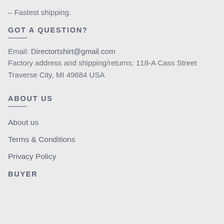– Fastest shipping.
GOT A QUESTION?
Email: Directortshirt@gmail.com
Factory address and shipping/returns: 118-A Cass Street Traverse City, MI 49684 USA
ABOUT US
About us
Terms & Conditions
Privacy Policy
BUYER